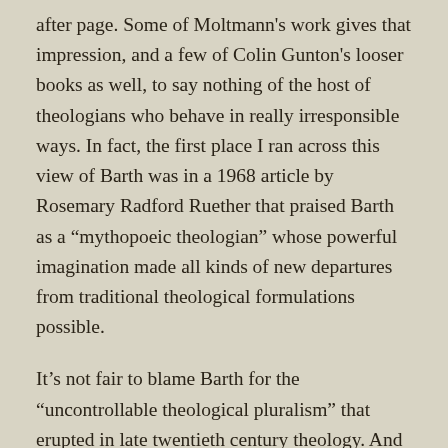after page. Some of Moltmann's work gives that impression, and a few of Colin Gunton's looser books as well, to say nothing of the host of theologians who behave in really irresponsible ways. In fact, the first place I ran across this view of Barth was in a 1968 article by Rosemary Radford Ruether that praised Barth as a “mythopoeic theologian” whose powerful imagination made all kinds of new departures from traditional theological formulations possible.
It’s not fair to blame Barth for the “uncontrollable theological pluralism” that erupted in late twentieth century theology. And a fuller account of his work would have to recognize the overwhelming sense of obligation to the church and responsibility to God that always exercised a controlling influence on Barth. But perhaps